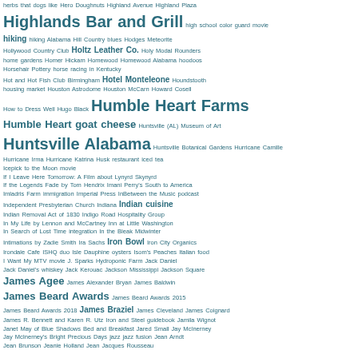Tag cloud index page with entries from 'herbs that dogs like' through 'Jean Jacques Rousseau'